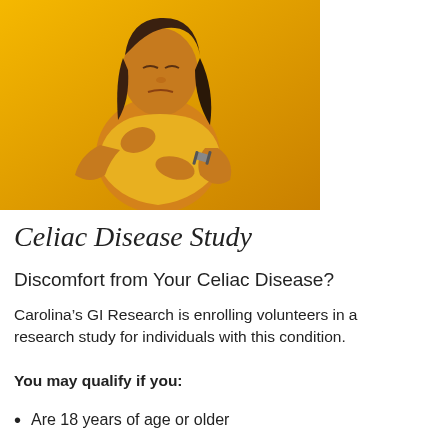[Figure (photo): A woman in a yellow shirt against a yellow background, holding her chest and stomach with an expression of pain or discomfort.]
Celiac Disease Study
Discomfort from Your Celiac Disease?
Carolina’s GI Research is enrolling volunteers in a research study for individuals with this condition.
You may qualify if you:
Are 18 years of age or older